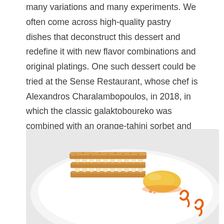many variations and many experiments. We often come across high-quality pastry dishes that deconstruct this dessert and redefine it with new flavor combinations and original platings. One such dessert could be tried at the Sense Restaurant, whose chef is Alexandros Charalambopoulos, in 2018, in which the classic galaktoboureko was combined with an orange-tahini sorbet and an aromatic cream of orange peels.
[Figure (photo): A plated dessert on a white plate featuring a layered phyllo pastry stack (galaktoboureko) with cream filling between crisp layers, dusted with cinnamon on top, alongside a yellow sorbet quenelle and orange decorative sauce swirls.]